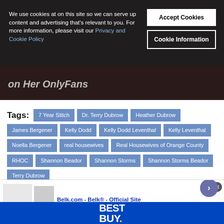[Figure (screenshot): Dark background image of a person, partially visible behind cookie consent overlay]
We use cookies at on this site so we can serve up content and advertising that's relevant to you. For more information, please visit our Privacy and Cookie Policy
Accept Cookies
Cookie Information
Tags: 7 Year Stitch Dr. Terry Dubrow Heather Dubrow James Bergener Kelly Dodd Kelly Dodd Leventhal Kelly Leventhal Noella Bergener real housewives Real Housewives of Orange County RHOC Shannon Beador Shannon Storms Shannon Storms Beador Terry Dubrow
[Figure (screenshot): Belk.com advertisement showing clothing items with text 'Belk.com - Belk® - Official Site, Up To 40% Off Kids & Baby Apparel']
[Figure (screenshot): Best Buy advertisement banner with blue background and Best Buy logo]